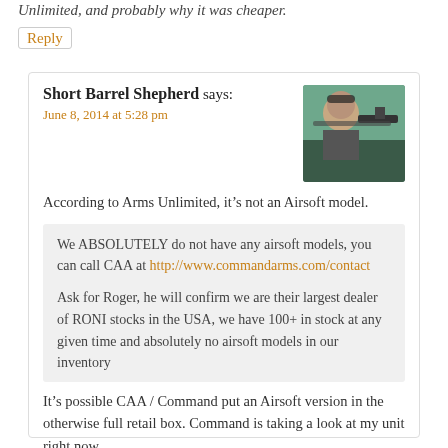Unlimited, and probably why it was cheaper.
Reply
Short Barrel Shepherd says:
June 8, 2014 at 5:28 pm
[Figure (photo): A person wearing hearing protection and aiming a firearm outdoors]
According to Arms Unlimited, it's not an Airsoft model.
We ABSOLUTELY do not have any airsoft models, you can call CAA at http://www.commandarms.com/contact
Ask for Roger, he will confirm we are their largest dealer of RONI stocks in the USA, we have 100+ in stock at any given time and absolutely no airsoft models in our inventory
It's possible CAA / Command put an Airsoft version in the otherwise full retail box. Command is taking a look at my unit right now.